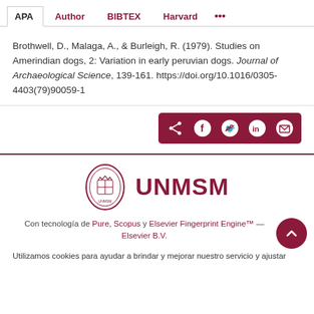APA | Author | BIBTEX | Harvard | ...
Brothwell, D., Malaga, A., & Burleigh, R. (1979). Studies on Amerindian dogs, 2: Variation in early peruvian dogs. Journal of Archaeological Science, 139-161. https://doi.org/10.1016/0305-4403(79)90059-1
[Figure (other): Social share buttons bar with share, facebook, twitter, linkedin, email icons on dark red background]
[Figure (logo): UNMSM university logo with crest and UNMSM text in dark red]
Con tecnología de Pure, Scopus y Elsevier Fingerprint Engine™ — Elsevier B.V.
Utilizamos cookies para ayudar a brindar y mejorar nuestro servicio y ajustar